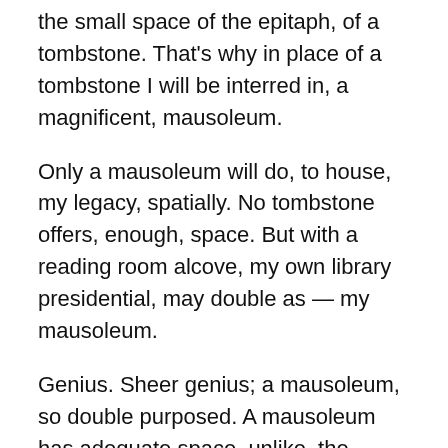the small space of the epitaph, of a tombstone. That's why in place of a tombstone I will be interred in, a magnificent, mausoleum.
Only a mausoleum will do, to house, my legacy, spatially. No tombstone offers, enough, space. But with a reading room alcove, my own library presidential, may double as — my mausoleum.
Genius. Sheer genius; a mausoleum, so double purposed. A mausoleum has adequate space, unlike, the inadequate and limited space, of an epitaph. My mausoleum; a presidential, library.
My plans for my presidential library, however, I kept to myself as I celebrated Christmas at the White House party today, hinting only, in four years, in 2024, another run, for the presidency.